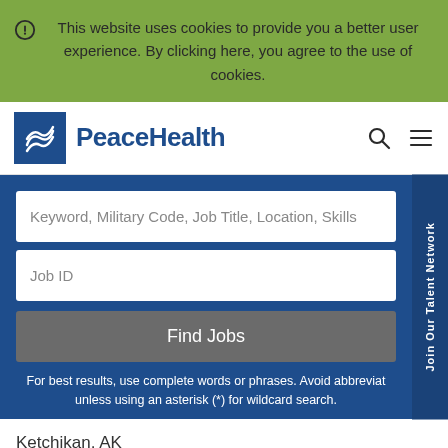This website uses cookies to provide you a better user experience. By clicking here, you agree to the use of cookies.
[Figure (logo): PeaceHealth logo — blue square with white wave/bird symbol, followed by 'PeaceHealth' in blue text]
Keyword, Military Code, Job Title, Location, Skills
Job ID
Find Jobs
For best results, use complete words or phrases. Avoid abbreviations unless using an asterisk (*) for wildcard search.
Ketchikan, AK
Radiology Technologist (Per Diem)